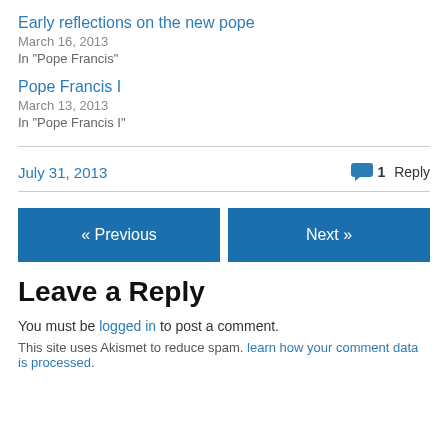Early reflections on the new pope
March 16, 2013
In "Pope Francis"
Pope Francis I
March 13, 2013
In "Pope Francis I"
July 31, 2013   1 Reply
« Previous
Next »
Leave a Reply
You must be logged in to post a comment.
This site uses Akismet to reduce spam. learn how your comment data is processed.